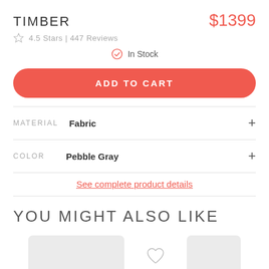TIMBER
$1399
4.5 Stars | 447 Reviews
In Stock
ADD TO CART
MATERIAL   Fabric
COLOR   Pebble Gray
See complete product details
YOU MIGHT ALSO LIKE